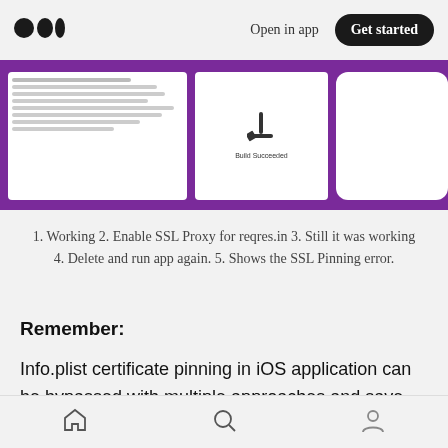Open in app | Get started
[Figure (screenshot): Three side-by-side screenshots showing Xcode project navigator, a build succeeded screen with hammer icon, and an iOS device simulator on a purple background.]
1. Working 2. Enable SSL Proxy for reqres.in 3. Still it was working 4. Delete and run app again. 5. Shows the SSL Pinning error.
Remember:
Info.plist certificate pinning in iOS application can be bypassed with multiple approaches and save guard against those too. :)
Wants to know How? read,
Home | Search | Profile